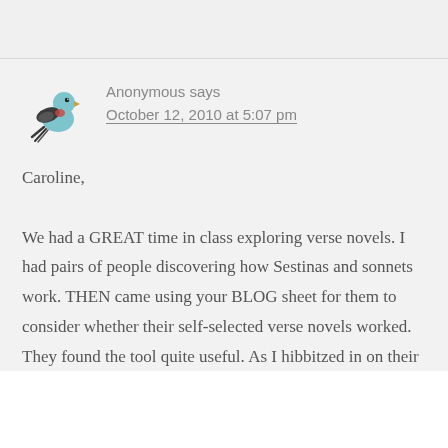[Figure (illustration): Bird illustration avatar (small stylized bird in teal/blue with dark wing markings and a red accent)]
Anonymous says
October 12, 2010 at 5:07 pm
Caroline,
We had a GREAT time in class exploring verse novels. I had pairs of people discovering how Sestinas and sonnets work. THEN came using your BLOG sheet for them to consider whether their self-selected verse novels worked. They found the tool quite useful. As Ihibbitzed in on their